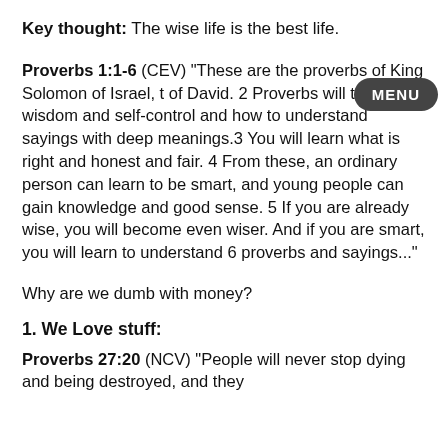Key thought: The wise life is the best life.
Proverbs 1:1-6 (CEV) “These are the proverbs of King Solomon of Israel, t of David. 2 Proverbs will teach you wisdom and self-control and how to understand sayings with deep meanings.3 You will learn what is right and honest and fair. 4 From these, an ordinary person can learn to be smart, and young people can gain knowledge and good sense. 5 If you are already wise, you will become even wiser. And if you are smart, you will learn to understand 6 proverbs and sayings...”
Why are we dumb with money?
1. We Love stuff:
Proverbs 27:20 (NCV) “People will never stop dying and being destroyed, and they